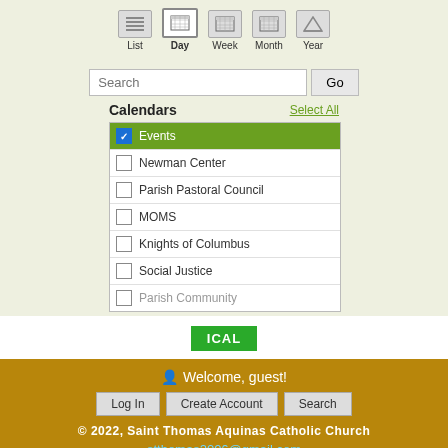[Figure (screenshot): Calendar navigation icons: List, Day (active/selected), Week, Month, Year with small calendar grid icons above each label]
[Figure (screenshot): Search input box with placeholder text 'Search' and a 'Go' button]
Calendars
Select All
Events (checked, highlighted green)
Newman Center
Parish Pastoral Council
MOMS
Knights of Columbus
Social Justice
Parish Community (partially visible)
[Figure (screenshot): ICAL green button]
Welcome, guest!
Log In   Create Account   Search
© 2022, Saint Thomas Aquinas Catholic Church
stthomas2006@gmail.com
[Figure (logo): Powered by ThisChurch logo with flame icon]